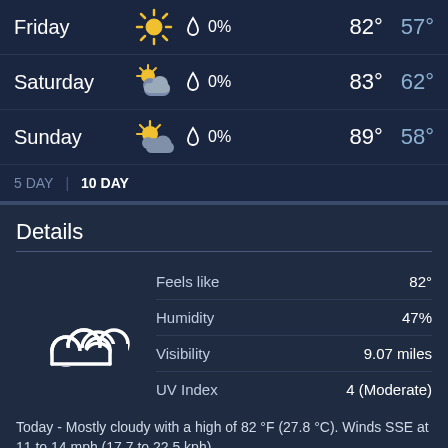Friday  0%  82°  57°
Saturday  0%  83°  62°
Sunday  0%  89°  58°
5 DAY  |  10 DAY
Details
| Label | Value |
| --- | --- |
| Feels like | 82° |
| Humidity | 47% |
| Visibility | 9.07 miles |
| UV Index | 4 (Moderate) |
Today - Mostly cloudy with a high of 82 °F (27.8 °C). Winds SSE at 11 to 14 mph (17.7 to 22.5 kph).
Tonight - Cloudy with a 25% chance of precipitation. Winds variable at 7 to 12 mph (11.3 to 19.3 kph). The overnight low will be 65 °F